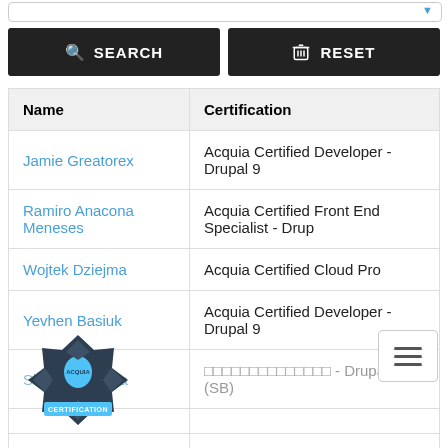[Figure (screenshot): Search bar with dropdown arrow at top of page]
SEARCH | RESET buttons (dark bar)
| Name | Certification |
| --- | --- |
| Jamie Greatorex | Acquia Certified Developer - Drupal 9 |
| Ramiro Anacona Meneses | Acquia Certified Front End Specialist - Drup... |
| Wojtek Dziejma | Acquia Certified Cloud Pro |
| Yevhen Basiuk | Acquia Certified Developer - Drupal 9 |
| Shinichi Tanaka | □□□□□□□□□□□□□□ - Drupal 9 (SB) |
|  |  |
| Ankit Jhakal | Acquia Certified Site Builder - Drupal 9 |
| Mohit Wadhwa | Acquia Certified Developer - Drupal 9 |
[Figure (logo): Acquia Certification badge logo — blue droplet and dark star shape with text ACQUIA CERTIFICATION]